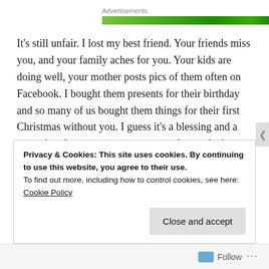[Figure (other): Advertisements label with green banner/bar below it]
It's still unfair.  I lost my best friend.  Your friends miss you, and your family aches for you.  Your kids are doing well, your mother posts pics of them often on Facebook.  I bought them presents for their birthday and so many of us bought them things for their first Christmas without you.  I guess it's a blessing and a curse that they were too young to understand what was going on, and too young to have really made tangible memories with you...it makes the loss easier and harder at
Privacy & Cookies: This site uses cookies. By continuing to use this website, you agree to their use.
To find out more, including how to control cookies, see here: Cookie Policy
Close and accept